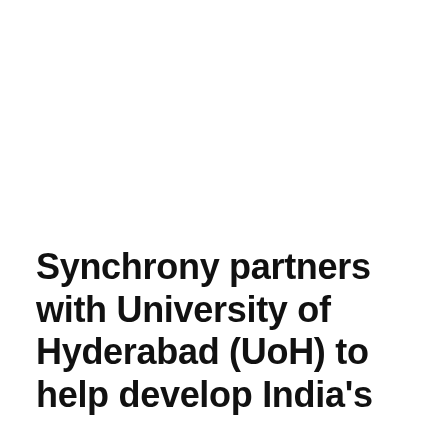Synchrony partners with University of Hyderabad (UoH) to help develop India's